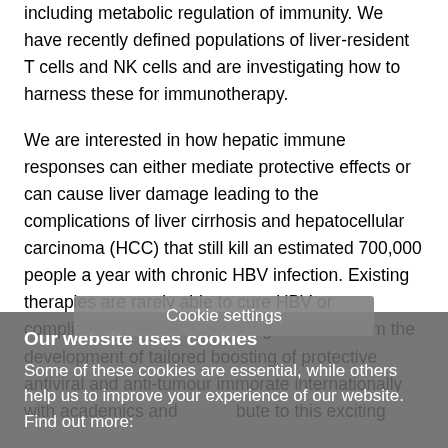including metabolic regulation of immunity. We have recently defined populations of liver-resident T cells and NK cells and are investigating how to harness these for immunotherapy.
We are interested in how hepatic immune responses can either mediate protective effects or can cause liver damage leading to the complications of liver cirrhosis and hepatocellular carcinoma (HCC) that still kill an estimated 700,000 people a year with chronic HBV infection. Existing therapies are rarely able to cure HBV or complications like HCC so our goal is to inform the development of tailored boosting of protective antiviral and anti-tumour imm...orate internationally with academics and ... bute to this exciting
Cookie settings
Our website uses cookies
Some of these cookies are essential, while others help us to improve your experience of our website. Find out more: